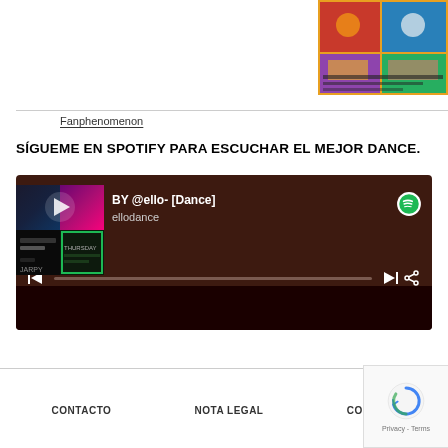[Figure (photo): Album or movie cover image in top-right corner, colorful with figures and Spanish text]
Fanphenomenon
SÍGUEME EN SPOTIFY PARA ESCUCHAR EL MEJOR DANCE.
[Figure (screenshot): Spotify embedded player widget with dark brownish-red background. Shows playlist 'BY @ello- [Dance]' by ellodance. Has album art mosaic, play button, track controls (previous, progress bar, next, share), and Spotify logo.]
CONTACTO   NOTA LEGAL   COOKIES